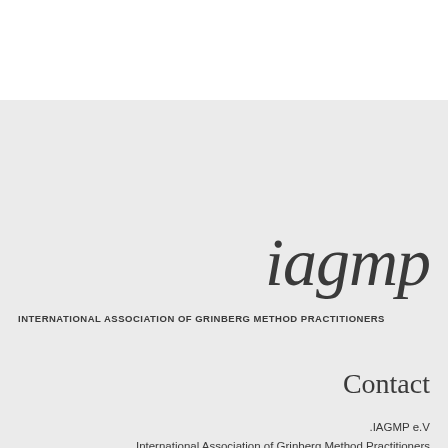[Figure (logo): iagmp logo in italic serif font]
INTERNATIONAL ASSOCIATION OF GRINBERG METHOD PRACTITIONERS
Contact
.IAGMP e.V
International Association of Grinberg Method Practitioners
c/o Center for individual sessions and group activities
Greifswalder Str. 208
Berlin 10405
Germany